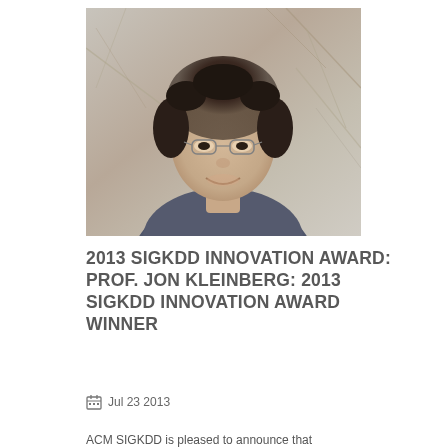[Figure (photo): Headshot photo of Prof. Jon Kleinberg, a man with curly dark hair and glasses, smiling, wearing a dark blue shirt, against a background of bare tree branches.]
2013 SIGKDD INNOVATION AWARD: PROF. JON KLEINBERG: 2013 SIGKDD INNOVATION AWARD WINNER
Jul 23 2013
ACM SIGKDD is pleased to announce that